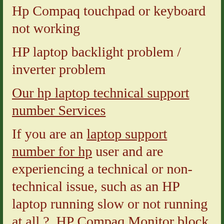Hp Compaq touchpad or keyboard not working
HP laptop backlight problem / inverter problem
Our hp laptop technical support number Services
If you are an laptop support number for hp user and are experiencing a technical or non-technical issue, such as an HP laptop running slow or not running at all ?, HP Compaq Monitor block or missing lines of information? , Cracked screen? images flickering?